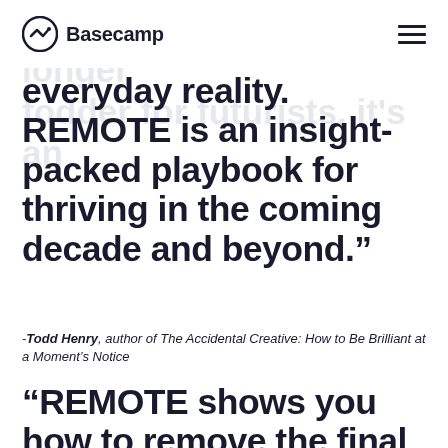Basecamp
the workplace is no longer fodder for futurists, it's an
everyday reality. REMOTE is an insight-packed playbook for thriving in the coming decade and beyond.”
-Todd Henry, author of The Accidental Creative: How to Be Brilliant at a Moment’s Notice
“REMOTE shows you how to remove the final barrier to doing the work you were